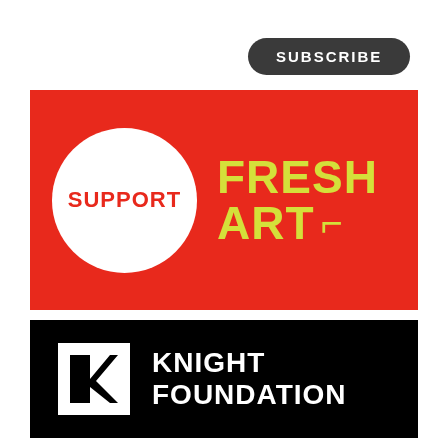[Figure (logo): Subscribe button — dark rounded pill with white text 'SUBSCRIBE']
[Figure (logo): Fresh Art International support banner — red background with white circle containing red 'SUPPORT' text, and yellow 'FRESH ART INTL' logo]
[Figure (logo): Knight Foundation logo banner — black background with white KF square logo and white text 'KNIGHT FOUNDATION']